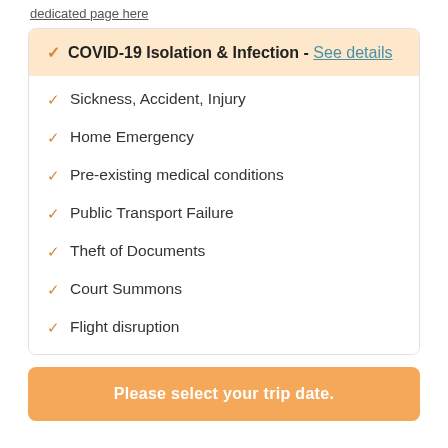dedicated page here
COVID-19 Isolation & Infection - See details
Sickness, Accident, Injury
Home Emergency
Pre-existing medical conditions
Public Transport Failure
Theft of Documents
Court Summons
Flight disruption
Please select your trip date.